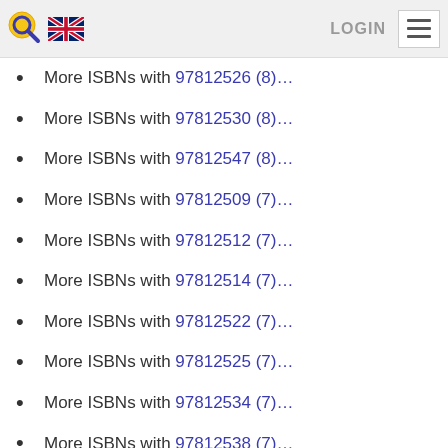LOGIN ≡
More ISBNs with 97812526 (8)…
More ISBNs with 97812530 (8)…
More ISBNs with 97812547 (8)…
More ISBNs with 97812509 (7)…
More ISBNs with 97812512 (7)…
More ISBNs with 97812514 (7)…
More ISBNs with 97812522 (7)…
More ISBNs with 97812525 (7)…
More ISBNs with 97812534 (7)…
More ISBNs with 97812538 (7)…
More ISBNs with 97812539 (7)…
More ISBNs with 97812540 (7)…
More ISBNs with 97812550 (7)…
More ISBNs with 97812554 (7)…
More ISBNs with 97812511 (6)…
More ISBNs with 97812515 (6)…
More ISBNs with 97812516 (6)…